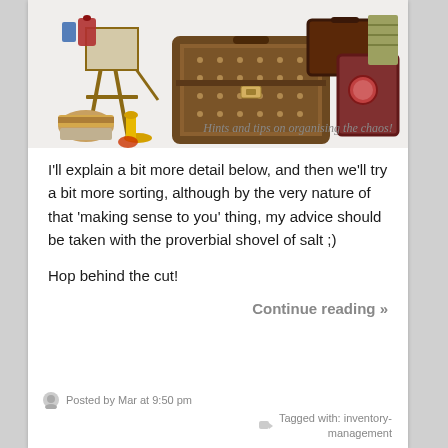[Figure (illustration): Blog banner image showing vintage luggage, suitcases, an easel with art supplies, a wicker basket, and a tag reading 'Hints and tips on organising the chaos!']
I'll explain a bit more detail below, and then we'll try a bit more sorting, although by the very nature of that 'making sense to you' thing, my advice should be taken with the proverbial shovel of salt ;)
Hop behind the cut!
Continue reading »
Posted by Mar at 9:50 pm   Tagged with: inventory-management